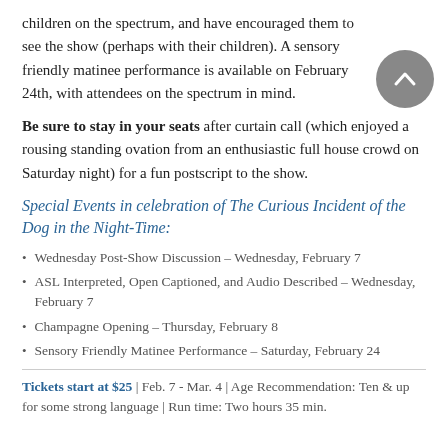children on the spectrum, and have encouraged them to see the show (perhaps with their children). A sensory friendly matinee performance is available on February 24th, with attendees on the spectrum in mind.
Be sure to stay in your seats after curtain call (which enjoyed a rousing standing ovation from an enthusiastic full house crowd on Saturday night) for a fun postscript to the show.
Special Events in celebration of The Curious Incident of the Dog in the Night-Time:
Wednesday Post-Show Discussion – Wednesday, February 7
ASL Interpreted, Open Captioned, and Audio Described – Wednesday, February 7
Champagne Opening – Thursday, February 8
Sensory Friendly Matinee Performance – Saturday, February 24
Tickets start at $25 | Feb. 7 - Mar. 4 | Age Recommendation: Ten & up for some strong language | Run time: Two hours 35 min.